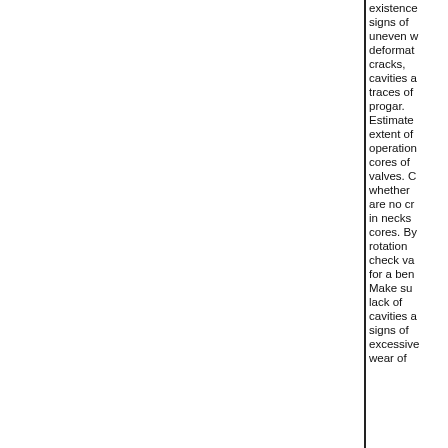existence signs of uneven wear, deformation, cracks, cavities and traces of progar. Estimate extent of operation cores of valves. Check whether are no cracks in necks of cores. By rotation check valves for a bend. Make sure lack of cavities and signs of excessive wear of